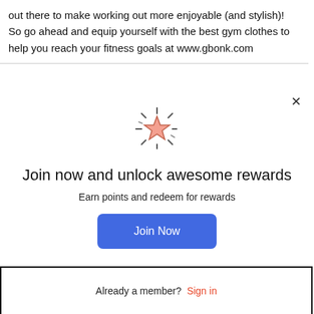out there to make working out more enjoyable (and stylish)! So go ahead and equip yourself with the best gym clothes to help you reach your fitness goals at www.gbonk.com
[Figure (illustration): A glowing star icon with radiating lines around it, pink/salmon colored star with dark outline, suggesting a rewards or favorites symbol]
Join now and unlock awesome rewards
Earn points and redeem for rewards
Join Now
Already a member? Sign in